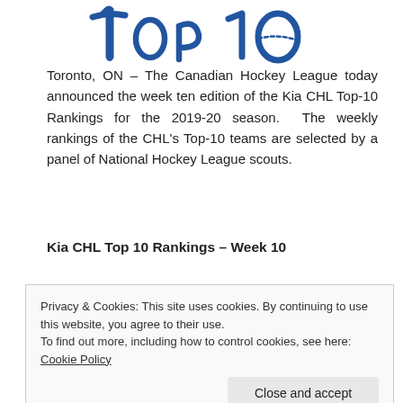[Figure (illustration): Stylized handwritten 'Top 10' text in blue, partially visible at top of page]
Toronto, ON – The Canadian Hockey League today announced the week ten edition of the Kia CHL Top-10 Rankings for the 2019-20 season. The weekly rankings of the CHL's Top-10 teams are selected by a panel of National Hockey League scouts.
Kia CHL Top 10 Rankings – Week 10
| Rank: | Team: | Last Week Ranked: | Total Weeks Ranked: |
| --- | --- | --- | --- |
Privacy & Cookies: This site uses cookies. By continuing to use this website, you agree to their use.
To find out more, including how to control cookies, see here: Cookie Policy
(17-5-0-0)